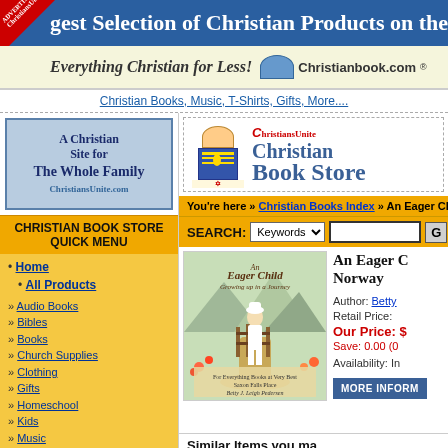gest Selection of Christian Products on the Web
[Figure (logo): Christianbook.com banner - Everything Christian for Less!]
Christian Books, Music, T-Shirts, Gifts, More....
[Figure (logo): A Christian Site for The Whole Family - ChristiansUnite.com logo]
CHRISTIAN BOOK STORE QUICK MENU
Home
All Products
Audio Books
Bibles
Books
Church Supplies
Clothing
Gifts
Homeschool
Kids
Music
Software
Spanish Products
Video / DVD
[Figure (logo): ChristiansUnite Christian Book Store header logo]
You're here » Christian Books Index » An Eager Child: G
SEARCH: Keywords
[Figure (illustration): Book cover: An Eager Child - Growing up in a Journey, showing a girl on a path]
An Eager Child Norway
Author: Betty
Retail Price:
Our Price: $
Save: 0.00 (0
Availability: In
MORE INFORM
Similar Items you ma